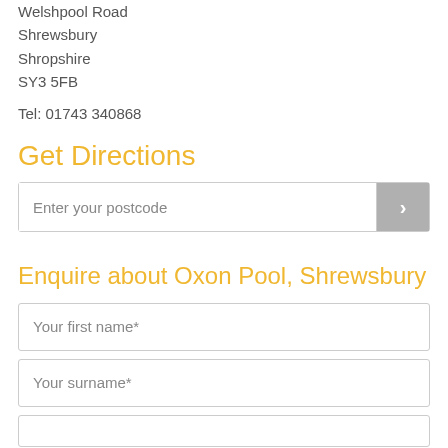Welshpool Road
Shrewsbury
Shropshire
SY3 5FB
Tel: 01743 340868
Get Directions
Enter your postcode
Enquire about Oxon Pool, Shrewsbury
Your first name*
Your surname*